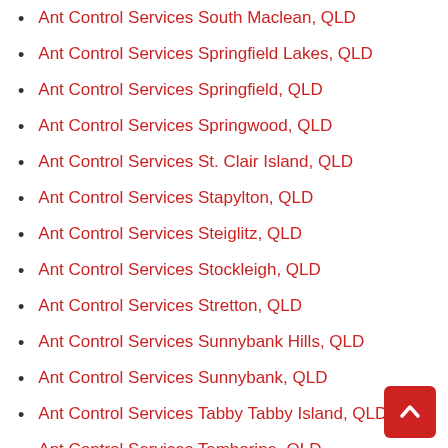Ant Control Services South Maclean, QLD
Ant Control Services Springfield Lakes, QLD
Ant Control Services Springfield, QLD
Ant Control Services Springwood, QLD
Ant Control Services St. Clair Island, QLD
Ant Control Services Stapylton, QLD
Ant Control Services Steiglitz, QLD
Ant Control Services Stockleigh, QLD
Ant Control Services Stretton, QLD
Ant Control Services Sunnybank Hills, QLD
Ant Control Services Sunnybank, QLD
Ant Control Services Tabby Tabby Island, QLD
Ant Control Services Tamborine, QLD
Ant Control Services Tanah Merah, QLD
Ant Control Services Tarragindi, QLD